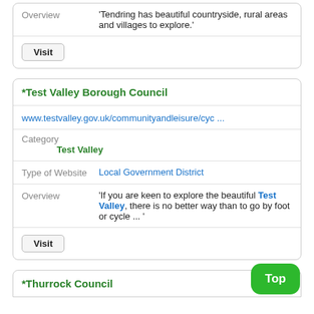|  |  |
| --- | --- |
| Overview | 'Tendring has beautiful countryside, rural areas and villages to explore.' |
|  | Visit |
|  |  |
| --- | --- |
| *Test Valley Borough Council |  |
| www.testvalley.gov.uk/communityandleisure/cyc ... |  |
| Category | Test Valley |
| Type of Website | Local Government District |
| Overview | 'If you are keen to explore the beautiful Test Valley, there is no better way than to go by foot or cycle ... ' |
|  | Visit |
*Thurrock Council